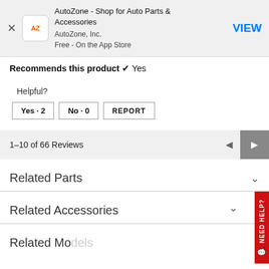[Figure (screenshot): AutoZone app store banner with AZ logo icon, title 'AutoZone - Shop for Auto Parts & Accessories', publisher 'AutoZone, Inc.', 'Free - On the App Store', close X button, and blue VIEW button]
Recommends this product ✔ Yes
Helpful?
Yes · 2   No · 0   REPORT
1–10 of 66 Reviews
Related Parts
Related Accessories
Related Models